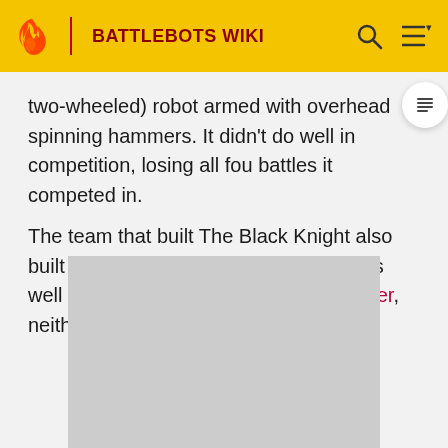BATTLEBOTS WIKI
two-wheeled) robot armed with overhead spinning hammers. It didn't do well in competition, losing all four battles it competed in.
The team that built The Black Knight also built the heavyweight of Der BiterBot, as well as the lightweight of The Axecutioner, neither of which had any more success.
[Figure (photo): Gray placeholder image, likely a photo of a robot or competition scene]